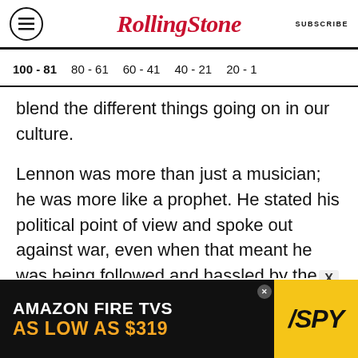Rolling Stone | SUBSCRIBE
100 - 81
80 - 61
60 - 41
40 - 21
20 - 1
blend the different things going on in our culture.
Lennon was more than just a musician; he was more like a prophet. He stated his political point of view and spoke out against war, even when that meant he was being followed and hassled by the U.S. government. "Imagine" is one of the greatest songs ever written. It's like a church hymn, and it states his beliefs quite clearly. And more than anything, Lennon was an icon for peace. That's hard to find these days.
[Figure (other): Amazon Fire TVs advertisement banner: 'AMAZON FIRE TVS AS LOW AS $319' with SPY logo on yellow background]